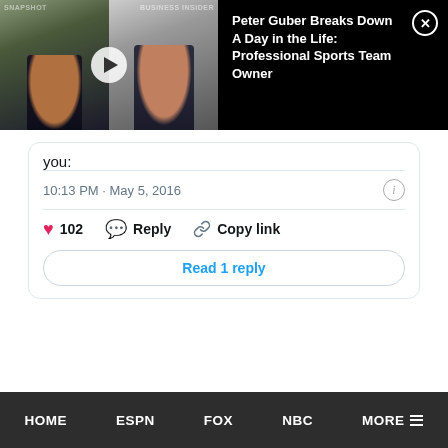[Figure (screenshot): Video thumbnail showing two people on a split screen with a play button overlay, next to black background with video title and close button. Title reads: Peter Guber Breaks Down A Day in the Life: Professional Sports Team Owner]
you:
10:13 PM · May 5, 2016
102  Reply  Copy link
Read 1 reply
HOME   ESPN   FOX   NBC   MORE